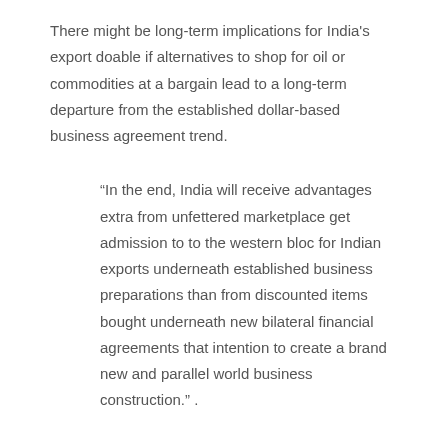There might be long-term implications for India's export doable if alternatives to shop for oil or commodities at a bargain lead to a long-term departure from the established dollar-based business agreement trend.
“In the end, India will receive advantages extra from unfettered marketplace get admission to to the western bloc for Indian exports underneath established business preparations than from discounted items bought underneath new bilateral financial agreements that intention to create a brand new and parallel world business construction.” .